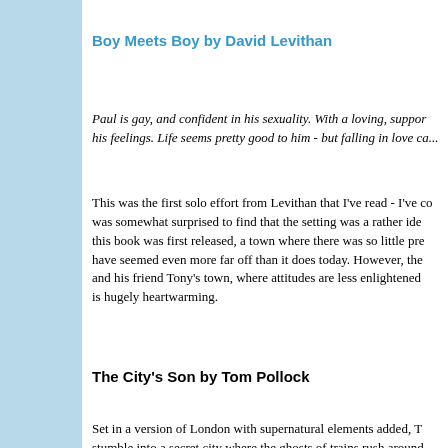Boy Meets Boy by David Levithan
Paul is gay, and confident in his sexuality. With a loving, support... his feelings. Life seems pretty good to him - but falling in love ca...
This was the first solo effort from Levithan that I've read - I've co... was somewhat surprised to find that the setting was a rather ide... this book was first released, a town where there was so little pre... have seemed even more far off than it does today. However, the... and his friend Tony's town, where attitudes are less enlightened... is hugely heartwarming.
The City's Son by Tom Pollock
Set in a version of London with supernatural elements added, T... stumble into a secret city where the ghosts of trains rush around... the streets.
I've read lots of good fantasy recently, but this stands out as on... protagonist's 'normal' problems to the fantasy world she finds h... exceptionally strong character arcs for several characters - Beth... friend all develop brilliantly. If anything, my one issue with this o... have enjoyed it even more if I'd read it fifteen years ago when...